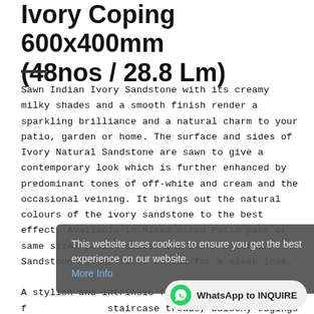Ivory Coping 600x400mm (48nos / 28.8 Lm)
Sawn Indian Ivory Sandstone with its creamy milky shades and a smooth finish render a sparkling brilliance and a natural charm to your patio, garden or home. The surface and sides of Ivory Natural Sandstone are sawn to give a contemporary look which is further enhanced by predominant tones of off-white and cream and the occasional veining. It brings out the natural colours of the ivory sandstone to the best effect. Available in Mixed Sized Patio pack or same sized paving slabs, the Ivory Natural Sandstone is the first choice for a sleek look.
A stylish and intrinsic feature for staircase treads, balcony edgings and wall capping.